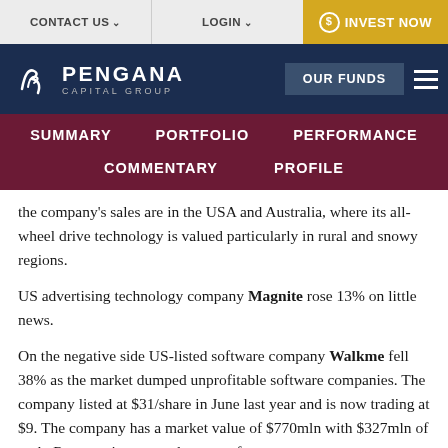CONTACT US   LOGIN   INVEST NOW
[Figure (logo): Pengana Capital Group logo with navigation bar showing OUR FUNDS button and hamburger menu]
SUMMARY   PORTFOLIO   PERFORMANCE   COMMENTARY   PROFILE
the company's sales are in the USA and Australia, where its all-wheel drive technology is valued particularly in rural and snowy regions.
US advertising technology company Magnite rose 13% on little news.
On the negative side US-listed software company Walkme fell 38% as the market dumped unprofitable software companies. The company listed at $31/share in June last year and is now trading at $9. The company has a market value of $770mln with $327mln of cash. Revenue is expected to grow from